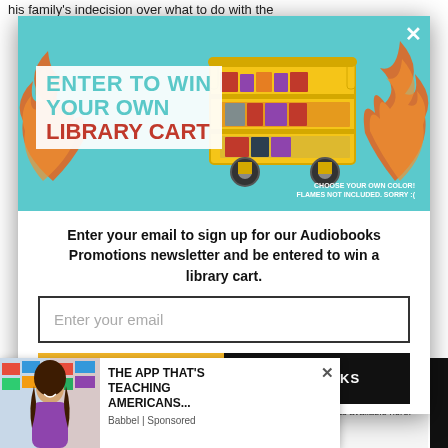his family's indecision over what to do with the
[Figure (screenshot): Modal popup with teal background showing a yellow library cart with flames, text 'ENTER TO WIN YOUR OWN LIBRARY CART', and small text 'CHOOSE YOUR OWN COLOR! FLAMES NOT INCLUDED. SORRY :(']
Enter your email to sign up for our Audiobooks Promotions newsletter and be entered to win a library cart.
Enter your email
I'M FEELING LUCKY
NO THANKS
[Figure (screenshot): Small ad popup at bottom left showing a woman smiling with flags, text 'THE APP THAT'S TEACHING AMERICANS...' and 'Babbel | Sponsored']
ding Puerto Rico and all ust 31, 2022. Winner will nts available here.